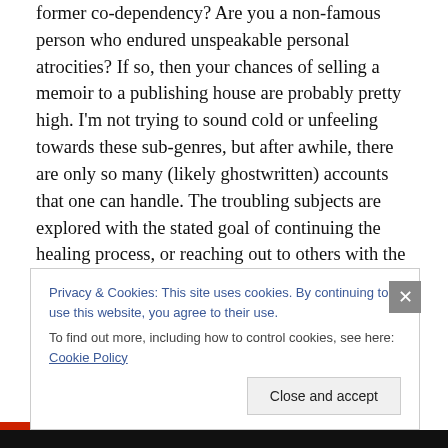former co-dependency? Are you a non-famous person who endured unspeakable personal atrocities? If so, then your chances of selling a memoir to a publishing house are probably pretty high. I'm not trying to sound cold or unfeeling towards these sub-genres, but after awhile, there are only so many (likely ghostwritten) accounts that one can handle. The troubling subjects are explored with the stated goal of continuing the healing process, or reaching out to others with the same afflictions. Noble, yes, but after awhile, readers can become desensitized when so many similar titles have been released.
Privacy & Cookies: This site uses cookies. By continuing to use this website, you agree to their use.
To find out more, including how to control cookies, see here: Cookie Policy